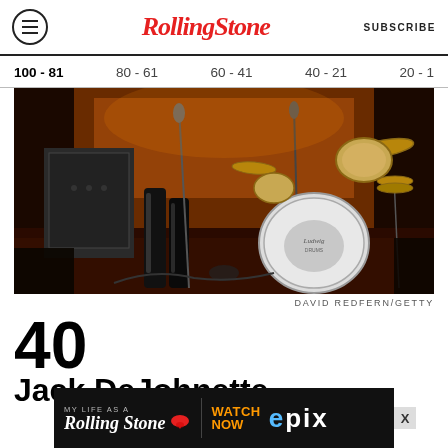Rolling Stone — SUBSCRIBE
100 - 81  80 - 61  60 - 41  40 - 21  20 - 1
[Figure (photo): Concert stage photo showing musicians, drum kit with bass drum visible, mic stands, amplifiers, moody warm-toned lighting]
DAVID REDFERN/GETTY
40
Jack DeJohnette